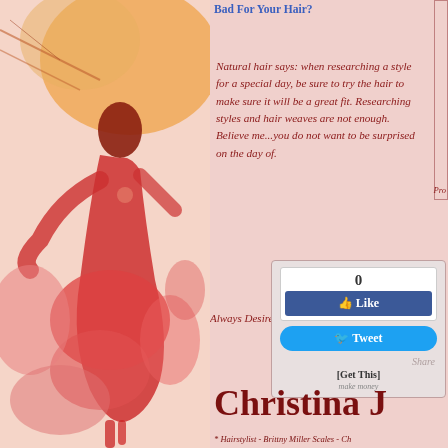[Figure (illustration): Watercolor-style illustration of a feminine figure in red and orange tones, abstract floral/dancer style on pink-peach background.]
Bad For Your Hair?
Natural hair says: when researching a style for a special day, be sure to try the hair to make sure it will be a great fit. Researching styles and hair weaves are not enough. Believe me...you do not want to be surprised on the day of.
Pro
Always Desire Your N
[Figure (screenshot): Social media widget showing Facebook Like button with count 0, Tweet button, Share text, [Get This] link, and make money text.]
Christina J
* Hairstylist - Brittny Miller Scales - Ch